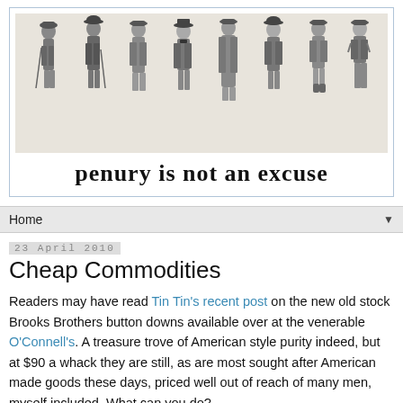[Figure (illustration): Black and white illustration of eight men in various early 20th century clothing styles, standing in a row against a white background.]
penury is not an excuse
Home ▼
23 April 2010
Cheap Commodities
Readers may have read Tin Tin's recent post on the new old stock Brooks Brothers button downs available over at the venerable O'Connell's. A treasure trove of American style purity indeed, but at $90 a whack they are still, as are most sought after American made goods these days, priced well out of reach of many men, myself included. What can you do?